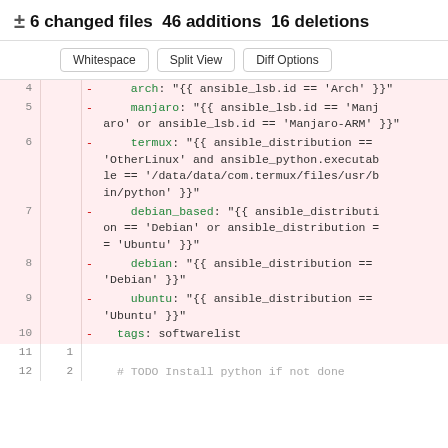± 6 changed files 46 additions 16 deletions
Whitespace  Split View  Diff Options
[Figure (screenshot): Code diff showing deleted lines 4-10 in a YAML file with Ansible variables for OS detection, and neutral lines 11-12]